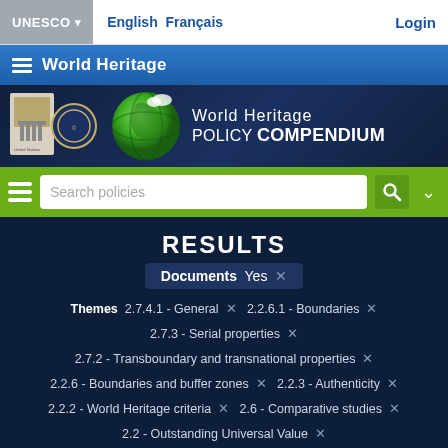UNESCO ▾ | English Français | Login
≡ World Heritage
[Figure (screenshot): World Heritage Policy Compendium banner with UNESCO logos and globe graphic]
Search policies
RESULTS
Documents Yes ×
Themes 2.7.4.1 - General × 2.2.6.1 - Boundaries × 2.7.3 - Serial properties × 2.7.2 - Transboundary and transnational properties × 2.2.6 - Boundaries and buffer zones × 2.2.3 - Authenticity × 2.2.2 - World Heritage criteria × 2.6 - Comparative studies × 2.2 - Outstanding Universal Value × 2.1 - Nominations to the World Heritage List ×